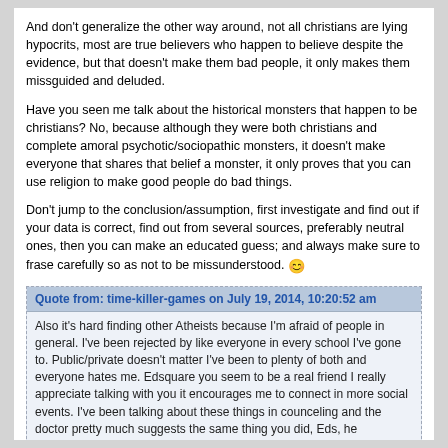And don't generalize the other way around, not all christians are lying hypocrits, most are true believers who happen to believe despite the evidence, but that doesn't make them bad people, it only makes them missguided and deluded.
Have you seen me talk about the historical monsters that happen to be christians? No, because although they were both christians and complete amoral psychotic/sociopathic monsters, it doesn't make everyone that shares that belief a monster, it only proves that you can use religion to make good people do bad things.
Don't jump to the conclusion/assumption, first investigate and find out if your data is correct, find out from several sources, preferably neutral ones, then you can make an educated guess; and always make sure to frase carefully so as not to be missunderstood. 🙂
Quote from: time-killer-games on July 19, 2014, 10:20:52 am
Also it's hard finding other Atheists because I'm afraid of people in general. I've been rejected by like everyone in every school I've gone to. Public/private doesn't matter I've been to plenty of both and everyone hates me. Edsquare you seem to be a real friend I really appreciate talking with you it encourages me to connect in more social events. I've been talking about these things in counceling and the doctor pretty much suggests the same thing you did, Eds, he mentioned this website called "meet up" ( www.meetup.com ) where you can meet people in your area you know you'll like and make plans to hang out. I like this one a lot I'm gonna have to check it out;